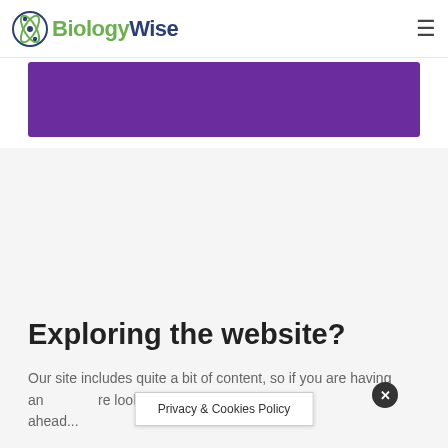BiologyWise
[Figure (illustration): Purple banner/advertisement area below the header navigation]
Exploring the website?
Our site includes quite a bit of content, so if you are having an issue finding what you are looking for, go on ahead...
Privacy & Cookies Policy